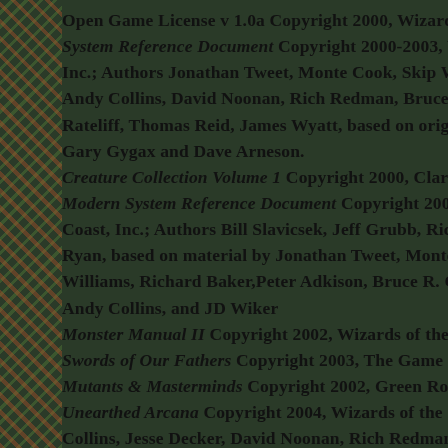Open Game License v 1.0a Copyright 2000, Wizards of the Coast, Inc.; System Reference Document Copyright 2000-2003, Wizards of the Coast, Inc.; Authors Jonathan Tweet, Monte Cook, Skip Williams, Andy Collins, David Noonan, Rich Redman, Bruce R. Cordell, John D. Rateliff, Thomas Reid, James Wyatt, based on original material by Gary Gygax and Dave Arneson. Creature Collection Volume 1 Copyright 2000, Clark Peterson; Modern System Reference Document Copyright 2002, Wizards of the Coast, Inc.; Authors Bill Slavicsek, Jeff Grubb, Rich Redman, Charles Ryan, based on material by Jonathan Tweet, Monte Cook, Skip Williams, Richard Baker,Peter Adkison, Bruce R. Cordell, Andy Collins, and JD Wiker Monster Manual II Copyright 2002, Wizards of the Coast; Swords of Our Fathers Copyright 2003, The Game Mechanics; Mutants & Masterminds Copyright 2002, Green Ronin Publishing; Unearthed Arcana Copyright 2004, Wizards of the Coast, Inc.; Andy Collins, Jesse Decker, David Noonan, Rich Redman.